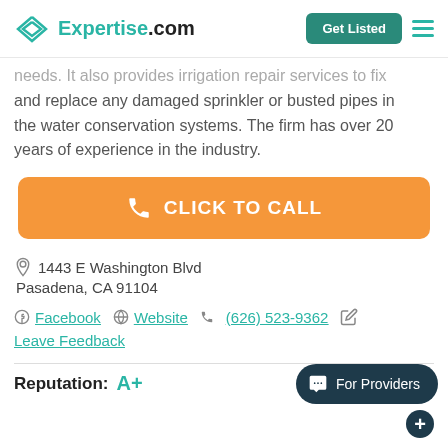Expertise.com — Get Listed
needs. It also provides irrigation repair services to fix and replace any damaged sprinkler or busted pipes in the water conservation systems. The firm has over 20 years of experience in the industry.
[Figure (other): Orange 'Click to Call' button with phone icon]
1443 E Washington Blvd
Pasadena, CA 91104
Facebook  Website  (626) 523-9362
Leave Feedback
Reputation: A+